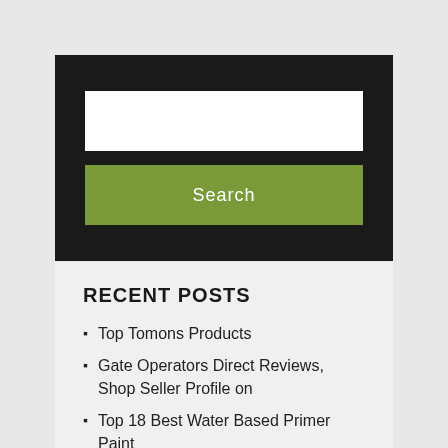[Figure (screenshot): Search widget with dark background, white text input box, and green Search button]
RECENT POSTS
Top Tomons Products
Gate Operators Direct Reviews, Shop Seller Profile on
Top 18 Best Water Based Primer Paint
The Little Shop of Fiery